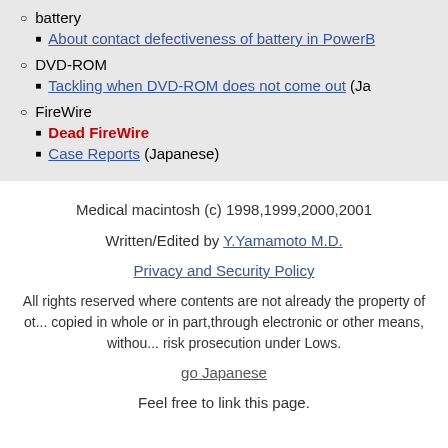battery
About contact defectiveness of battery in PowerB...
DVD-ROM
Tackling when DVD-ROM does not come out (Ja...
FireWire
Dead FireWire
Case Reports (Japanese)
Medical macintosh (c) 1998,1999,2000,2001
Written/Edited by Y.Yamamoto M.D.
Privacy and Security Policy
All rights reserved where contents are not already the property of others and may not be copied in whole or in part,through electronic or other means, without permission, You risk prosecution under Lows.
go Japanese
Feel free to link this page.